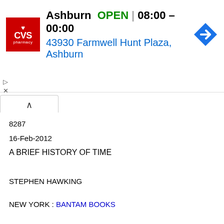[Figure (screenshot): CVS Pharmacy advertisement banner showing Ashburn location, OPEN status, hours 08:00-00:00, address 43930 Farmwell Hunt Plaza, Ashburn, with navigation icon]
8287
16-Feb-2012
A BRIEF HISTORY OF TIME
STEPHEN HAWKING
NEW YORK : BANTAM BOOKS
2006